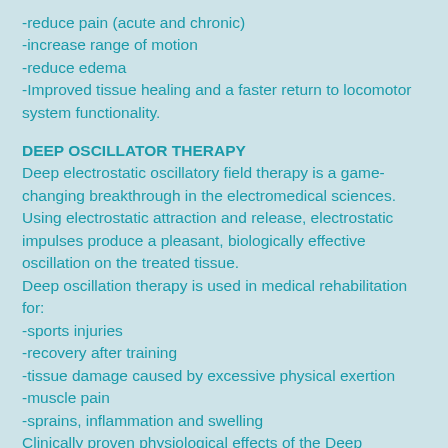-reduce pain (acute and chronic)
-increase range of motion
-reduce edema
-Improved tissue healing and a faster return to locomotor system functionality.
DEEP OSCILLATOR THERAPY
Deep electrostatic oscillatory field therapy is a game-changing breakthrough in the electromedical sciences. Using electrostatic attraction and release, electrostatic impulses produce a pleasant, biologically effective oscillation on the treated tissue.
Deep oscillation therapy is used in medical rehabilitation for:
-sports injuries
-recovery after training
-tissue damage caused by excessive physical exertion
-muscle pain
-sprains, inflammation and swelling
Clinically proven physiological effects of the Deep oscillator:
-Great efficiency in reducing pain
-Effect against inflammation
-Successful reduction of edema (swelling)